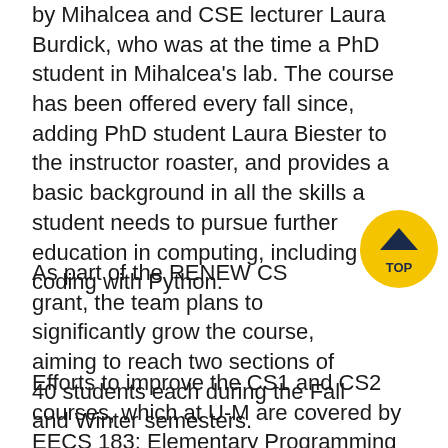by Mihalcea and CSE lecturer Laura Burdick, who was at the time a PhD student in Mihalcea's lab. The course has been offered every fall since, adding PhD student Laura Biester to the instructor roaster, and provides a basic background in all the skills a student needs to pursue further education in computing, including coding with Python.
[Figure (other): Yellow circular 'TOP' navigation button with a dark navy upward chevron arrow and the text 'TOP' below it]
As part of the RENEW CS grant, the team plans to significantly grow the course, aiming to reach two sections of 40 students each during the Fall and Winter semesters.
Efforts to improve the CS1 and CS2 courses, which at U-M are covered by EECS 183: Elementary Programming Concepts, EECS 203: Discrete Mathematics, and EECS 280: Programming and Introductory Data Structures, will focus on both